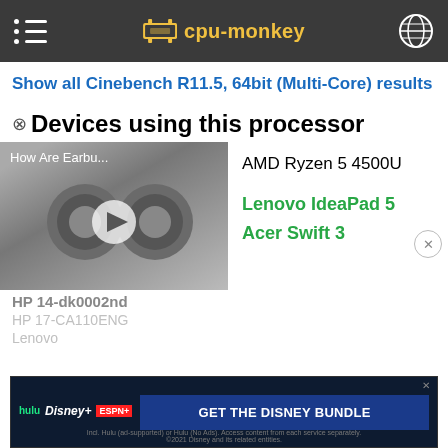cpu-monkey
Show all Cinebench R11.5, 64bit (Multi-Core) results
Devices using this processor
[Figure (screenshot): Video thumbnail showing earbuds with play button overlay, titled 'How Are Earbu...']
AMD Ryzen 5 4500U
Lenovo IdeaPad 5
Acer Swift 3
HP 14-dk0002nd
HP 17-CA110ENG
Lenovo
[Figure (screenshot): Disney Bundle advertisement banner with Hulu, Disney+, ESPN+ logos and 'GET THE DISNEY BUNDLE' CTA]